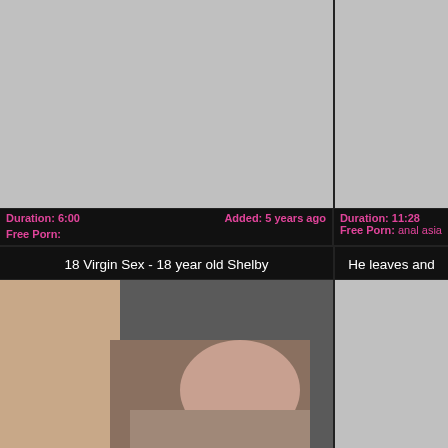[Figure (screenshot): Top-left video thumbnail, gray placeholder]
Duration: 6:00   Added: 5 years ago
Free Porn:
[Figure (screenshot): Top-right video thumbnail, gray placeholder, partially visible]
Duration: 11:28
Free Porn: anal asia
18 Virgin Sex - 18 year old Shelby
He leaves and
[Figure (photo): Bottom-left video thumbnail showing a couple]
[Figure (screenshot): Bottom-right video thumbnail, gray placeholder, partially visible]